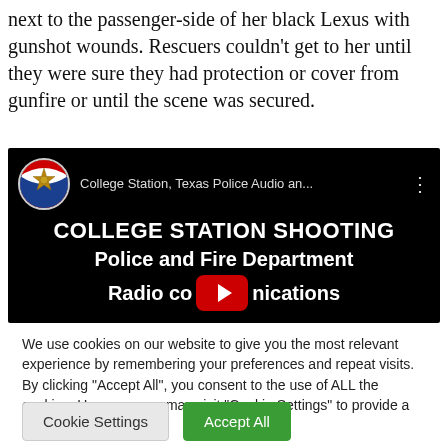next to the passenger-side of her black Lexus with gunshot wounds. Rescuers couldn't get to her until they were sure they had protection or cover from gunfire or until the scene was secured.
[Figure (screenshot): YouTube video thumbnail showing 'College Station, Texas Police Audio an...' channel with title 'COLLEGE STATION SHOOTING Police and Fire Department Radio communications' with a YouTube play button overlay]
We use cookies on our website to give you the most relevant experience by remembering your preferences and repeat visits. By clicking "Accept All", you consent to the use of ALL the cookies. However, you may visit "Cookie Settings" to provide a controlled consent.